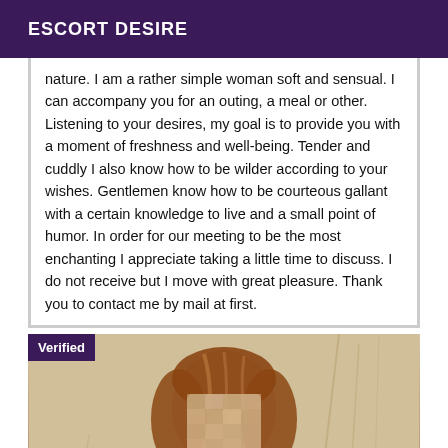ESCORT DESIRE
nature. I am a rather simple woman soft and sensual. I can accompany you for an outing, a meal or other. Listening to your desires, my goal is to provide you with a moment of freshness and well-being. Tender and cuddly I also know how to be wilder according to your wishes. Gentlemen know how to be courteous gallant with a certain knowledge to live and a small point of humor. In order for our meeting to be the most enchanting I appreciate taking a little time to discuss. I do not receive but I move with great pleasure. Thank you to contact me by mail at first.
[Figure (photo): A woman with shoulder-length reddish-brown hair, face partially blurred/obscured, wearing light-colored clothing, with a neutral background. A purple 'Verified' badge overlays the top-left corner of the photo.]